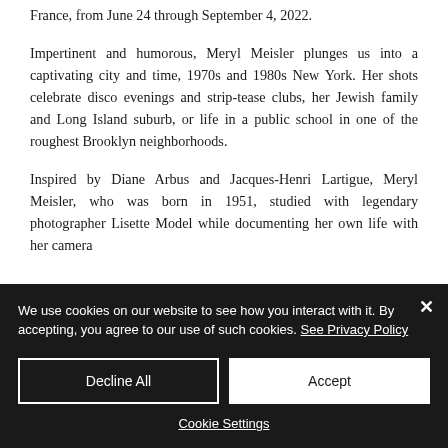France, from June 24 through September 4, 2022.
Impertinent and humorous, Meryl Meisler plunges us into a captivating city and time, 1970s and 1980s New York. Her shots celebrate disco evenings and strip-tease clubs, her Jewish family and Long Island suburb, or life in a public school in one of the roughest Brooklyn neighborhoods.
Inspired by Diane Arbus and Jacques-Henri Lartigue, Meryl Meisler, who was born in 1951, studied with legendary photographer Lisette Model while documenting her own life with her camera
We use cookies on our website to see how you interact with it. By accepting, you agree to our use of such cookies. See Privacy Policy